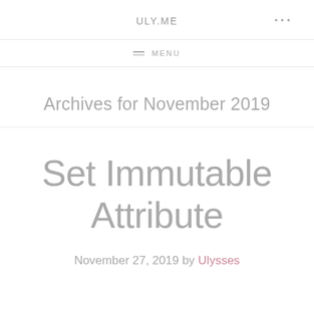ULY.ME
MENU
Archives for November 2019
Set Immutable Attribute
November 27, 2019 by Ulysses